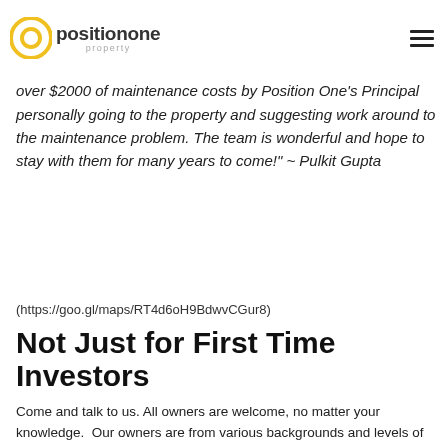Position One Property logo and navigation
“Position one have been brilliant with respect to my property... two IPs with them now. Previously I was with another Pm, but the switch over was very worth it. Wishing the first month I have saved over $2000 of maintenance costs by Position One’s Principal personally going to the property and suggesting work around to the maintenance problem. The team is wonderful and hope to stay with them for many years to come!” ~ Pulkit Gupta
(https://goo.gl/maps/RT4d6oH9BdwvCGur8)
Not Just for First Time Investors
Come and talk to us. All owners are welcome, no matter your knowledge.  Our owners are from various backgrounds and levels of property investment experience.
So, click on the link, below.  Then, fill in the form to